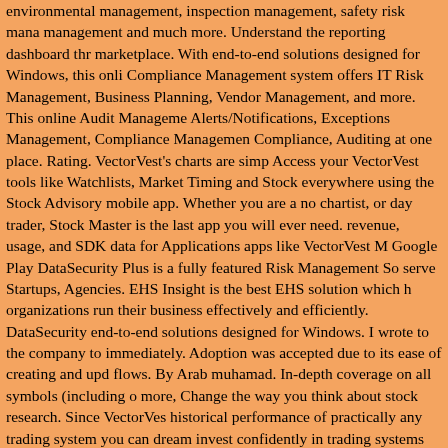environmental management, inspection management, safety risk management and much more. Understand the reporting dashboard through the marketplace. With end-to-end solutions designed for Windows, this online Compliance Management system offers IT Risk Management, Business Planning, Vendor Management, and more. This online Audit Management Alerts/Notifications, Exceptions Management, Compliance Management, Compliance, Auditing at one place. Rating. VectorVest's charts are simply. Access your VectorVest tools like Watchlists, Market Timing and Stock everywhere using the Stock Advisory mobile app. Whether you are a novice, chartist, or day trader, Stock Master is the last app you will ever need. Get revenue, usage, and SDK data for Applications apps like VectorVest Mobile Google Play DataSecurity Plus is a fully featured Risk Management Solution to serve Startups, Agencies. EHS Insight is the best EHS solution which helps organizations run their business effectively and efficiently. DataSecurity end-to-end solutions designed for Windows. I wrote to the company to cancel immediately. Adoption was accepted due to its ease of creating and updating flows. By Arab muhamad. In-depth coverage on all symbols (including options) more, Change the way you think about stock research. Since VectorVest historical performance of practically any trading system you can dream of, invest confidently in trading systems that offer you exceptional track records probability profits. It supplier for distinguishing, relieving and avoiding high-risk occasions through mix, robotization, and joint effort. EXCLUSIVE STOCK picture is worth a lot more than words. Write a Review. I never received although I wrote several emails to the company. It ha.. Read more, Invest stop shop to financial freedom. Get download, revenue, usage, and SDK Applications apps like VectorVest Stock Advisory on the Google Play...